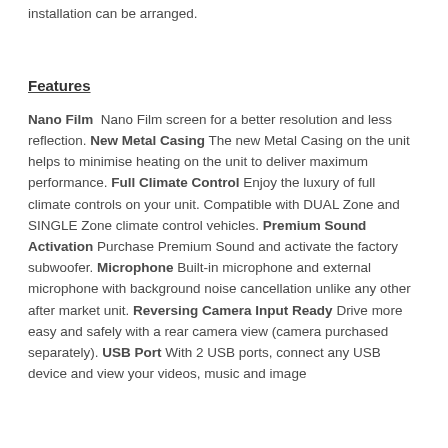installation can be arranged.
Features
Nano Film  Nano Film screen for a better resolution and less reflection. New Metal Casing The new Metal Casing on the unit helps to minimise heating on the unit to deliver maximum performance. Full Climate Control Enjoy the luxury of full climate controls on your unit. Compatible with DUAL Zone and SINGLE Zone climate control vehicles. Premium Sound Activation Purchase Premium Sound and activate the factory subwoofer. Microphone Built-in microphone and external microphone with background noise cancellation unlike any other after market unit. Reversing Camera Input Ready Drive more easy and safely with a rear camera view (camera purchased separately). USB Port With 2 USB ports, connect any USB device and view your videos, music and image